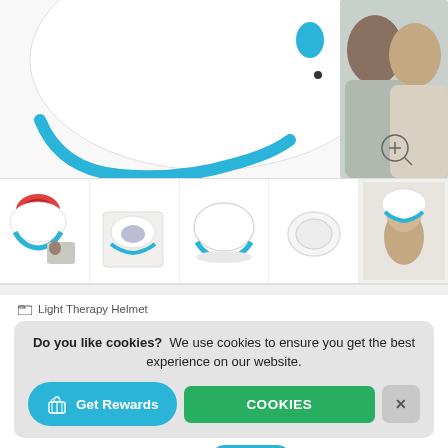[Figure (photo): Main product image showing a white light therapy helmet device with blue trim and a couple smiling in the background, with a zoom icon overlay]
[Figure (photo): Row of 5 product thumbnail images: helmet with red interior visible, helmet in box, plain white helmet, white device component, woman wearing the helmet]
Light Therapy Helmet
Do you like cookies? We use cookies to ensure you get the best experience on our website.
Get Rewards
COOKIES
X
$ 249.94 USD  $ 499.00 USD